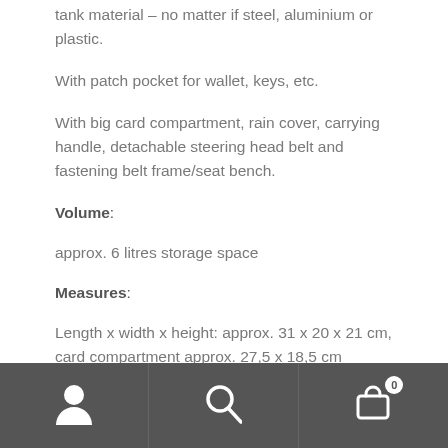tank material – no matter if steel, aluminium or plastic.
With patch pocket for wallet, keys, etc.
With big card compartment, rain cover, carrying handle, detachable steering head belt and fastening belt frame/seat bench.
Volume:
approx. 6 litres storage space
Measures:
Length x width x height: approx. 31 x 20 x 21 cm, card compartment approx. 27,5 x 18,5 cm